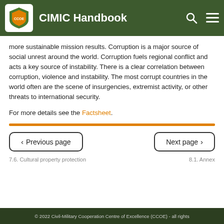CIMIC Handbook
more sustainable mission results. Corruption is a major source of social unrest around the world. Corruption fuels regional conflict and acts a key source of instability. There is a clear correlation between corruption, violence and instability. The most corrupt countries in the world often are the scene of insurgencies, extremist activity, or other threats to international security.
For more details see the Factsheet.
Previous page | Next page
7.6. Cultural property protection | 8.1. Annex
© 2022 Civil-Military Cooperation Centre of Excellence (CCOE) - all rights